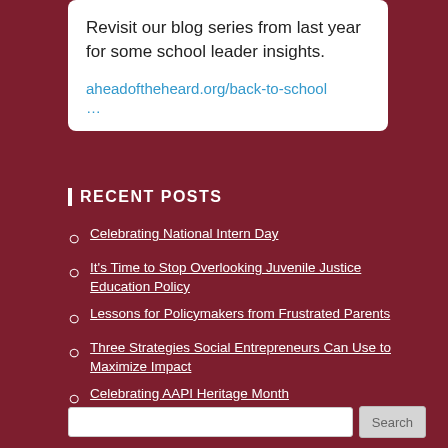Revisit our blog series from last year for some school leader insights.
aheadoftheheard.org/back-to-school
…
RECENT POSTS
Celebrating National Intern Day
It's Time to Stop Overlooking Juvenile Justice Education Policy
Lessons for Policymakers from Frustrated Parents
Three Strategies Social Entrepreneurs Can Use to Maximize Impact
Celebrating AAPI Heritage Month